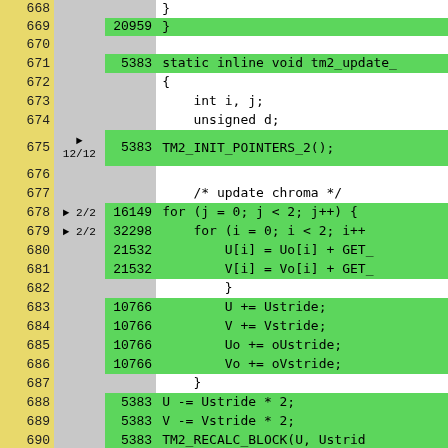| Line | Branch | Count | Code |
| --- | --- | --- | --- |
| 668 |  |  | } |
| 669 |  | 20959 | } |
| 670 |  |  |  |
| 671 |  | 5383 | static inline void tm2_update_ |
| 672 |  |  | { |
| 673 |  |  |     int i, j; |
| 674 |  |  |     unsigned d; |
| 675 | ▶ 12/12 | 5383 |     TM2_INIT_POINTERS_2(); |
| 676 |  |  |  |
| 677 |  |  |     /* update chroma */ |
| 678 | ▶ 2/2 | 16149 |     for (j = 0; j < 2; j++) { |
| 679 | ▶ 2/2 | 32298 |         for (i = 0; i < 2; i++ |
| 680 |  | 21532 |             U[i] = Uo[i] + GET_ |
| 681 |  | 21532 |             V[i] = Vo[i] + GET_ |
| 682 |  |  |         } |
| 683 |  | 10766 |         U  += Ustride; |
| 684 |  | 10766 |         V  += Vstride; |
| 685 |  | 10766 |         Uo += oUstride; |
| 686 |  | 10766 |         Vo += oVstride; |
| 687 |  |  |     } |
| 688 |  | 5383 |     U -= Ustride * 2; |
| 689 |  | 5383 |     V -= Vstride * 2; |
| 690 |  | 5383 |     TM2_RECALC_BLOCK(U, Ustrid |
| 691 |  | 5383 |     TM2_RECALC_BLOCK(V, Vstrid |
| 692 |  |  |  |